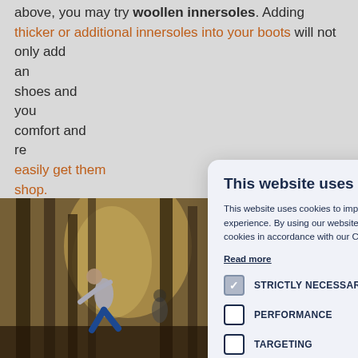above, you may try woollen innersoles. Adding thicker or additional innersoles into your boots will not only add an... shoes and your... comfort and re... easily get them... shop.
4. Stay acti...
[Figure (photo): Person exercising outdoors in a forest/park setting]
This website uses cookies

This website uses cookies to improve user experience. By using our website you consent to all cookies in accordance with our Cookie Policy.
Read more

STRICTLY NECESSARY
PERFORMANCE
TARGETING
FUNCTIONALITY

ACCEPT ALL    DECLINE ALL

SHOW DETAILS